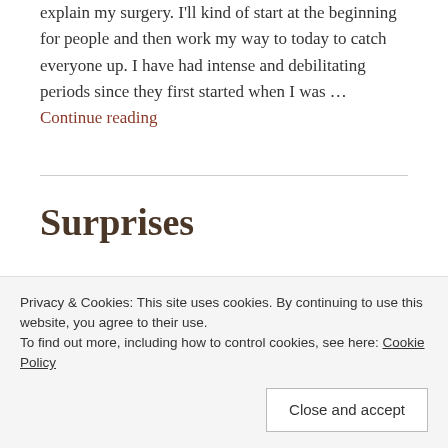explain my surgery. I'll kind of start at the beginning for people and then work my way to today to catch everyone up. I have had intense and debilitating periods since they first started when I was … Continue reading
Surprises
FEBRUARY 18, 2019 ~ LEAVE A COMMENT
Privacy & Cookies: This site uses cookies. By continuing to use this website, you agree to their use. To find out more, including how to control cookies, see here: Cookie Policy